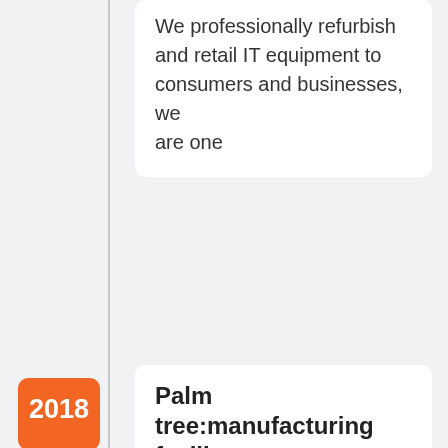We professionally refurbish and retail IT equipment to consumers and businesses, we are one
2018
Palm tree:manufacturing facility
We professionally refurbish and retail IT equipment to consumers and businesses, we are one
2020
REBOX-IT